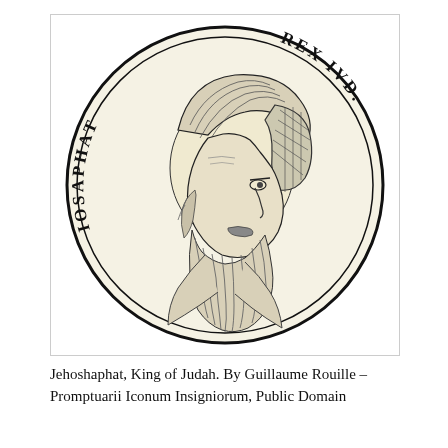[Figure (illustration): A historical engraving/woodcut medallion coin portrait of Jehoshaphat, King of Judah. The circular coin depicts a bearded man in profile facing right, wearing an ornate headdress with decorative roundels. The text 'IOSAPHAT' curves along the left side of the coin and 'REX IVD.' curves along the right side. The image is from Promptuarii Iconum Insigniorum by Guillaume Rouille.]
Jehoshaphat, King of Judah. By Guillaume Rouille – Promptuarii Iconum Insigniorum, Public Domain